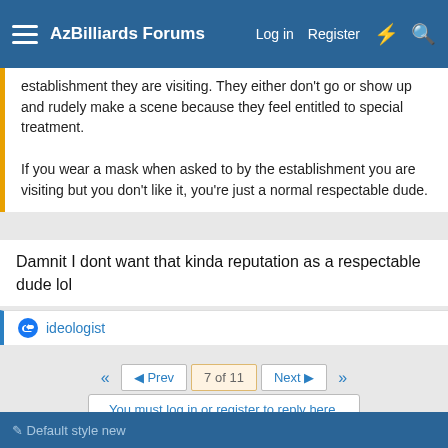AzBilliards Forums — Log in  Register
establishment they are visiting. They either don't go or show up and rudely make a scene because they feel entitled to special treatment.

If you wear a mask when asked to by the establishment you are visiting but you don't like it, you're just a normal respectable dude.
Damnit I dont want that kinda reputation as a respectable dude lol
ideologist
◄◄   ◄ Prev   7 of 11   Next ►   ►►
You must log in or register to reply here.
Share:
< Main Forum
Default style new